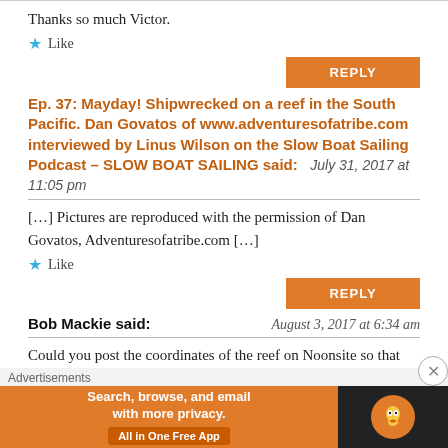Thanks so much Victor.
★ Like
REPLY
Ep. 37: Mayday! Shipwrecked on a reef in the South Pacific. Dan Govatos of www.adventuresofatribe.com interviewed by Linus Wilson on the Slow Boat Sailing Podcast – SLOW BOAT SAILING said:   July 31, 2017 at 11:05 pm
[…] Pictures are reproduced with the permission of Dan Govatos, Adventuresofatribe.com […]
★ Like
REPLY
Bob Mackie said:   August 3, 2017 at 6:34 am
Could you post the coordinates of the reef on Noonsite so that others may benefit and learn. Maybe I missed them in the
Advertisements
[Figure (screenshot): DuckDuckGo advertisement banner: 'Search, browse, and email with more privacy. All in One Free App' with DuckDuckGo logo on dark background.]